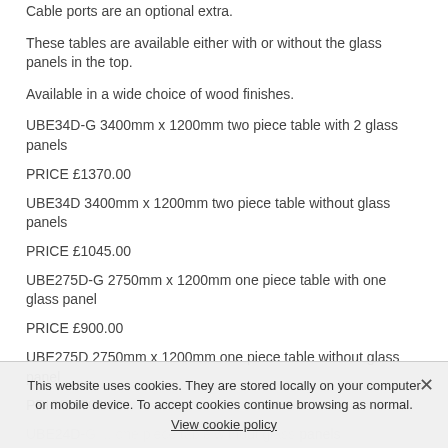Cable ports are an optional extra.
These tables are available either with or without the glass panels in the top.
Available in a wide choice of wood finishes.
UBE34D-G 3400mm x 1200mm two piece table with 2 glass panels
PRICE £1370.00
UBE34D 3400mm x 1200mm two piece table without glass panels
PRICE £1045.00
UBE275D-G 2750mm x 1200mm one piece table with one glass panel
PRICE £900.00
UBE275D 2750mm x 1200mm one piece table without glass panel
PRICE £704.00
UBE24D-G ... one piece table without glass panels
PRICE £835.00
This website uses cookies. They are stored locally on your computer or mobile device. To accept cookies continue browsing as normal. View cookie policy